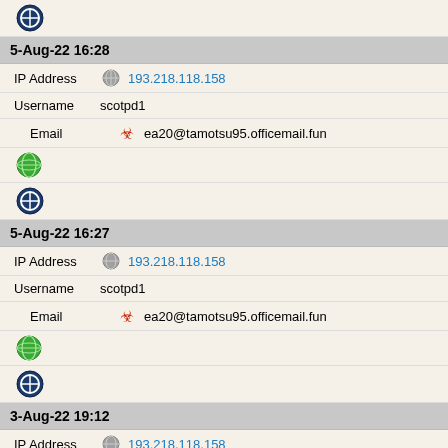[Figure (icon): Tor/onion browser icon (blue circle with white i or arrow)]
5-Aug-22 16:28
IP Address  193.218.118.158
Username  scotpd1
Email  ea20@tamotsu95.officemail.fun
[Figure (icon): Green globe icon]
[Figure (icon): Tor/onion browser icon (blue circle)]
5-Aug-22 16:27
IP Address  193.218.118.158
Username  scotpd1
Email  ea20@tamotsu95.officemail.fun
[Figure (icon): Green globe icon]
[Figure (icon): Tor/onion browser icon (blue circle)]
3-Aug-22 19:12
IP Address  193.218.118.158
Username  helenafu60
Email  nm18@katsu8010.haruto45.inwebmail.fun